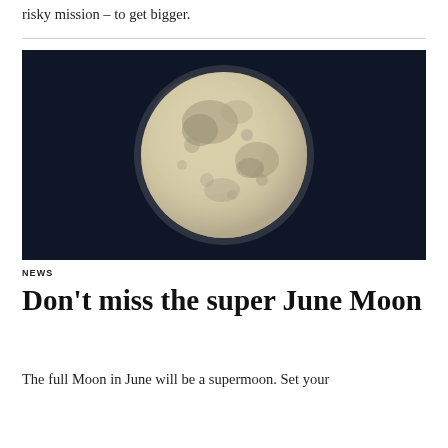risky mission – to get bigger.
[Figure (photo): Full moon photographed against a dark navy night sky, showing detailed lunar surface features and craters.]
NEWS
Don't miss the super June Moon
The full Moon in June will be a supermoon. Set your